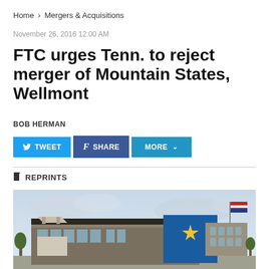Home > Mergers & Acquisitions
November 26, 2016 12:00 AM
FTC urges Tenn. to reject merger of Mountain States, Wellmont
BOB HERMAN
[Figure (screenshot): Social sharing buttons: TWEET, SHARE, MORE with dropdown arrow]
REPRINTS
[Figure (photo): Exterior photograph of a modern commercial building with a star and geometric logo on the facade, American flag in background, overcast sky]